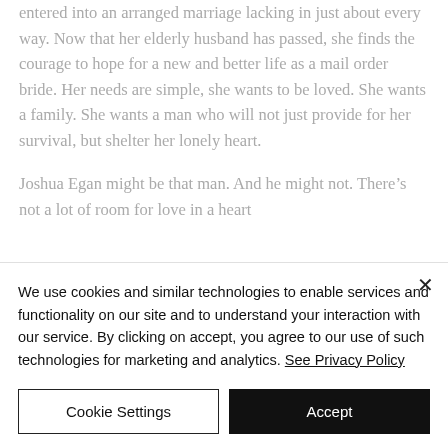entered into an arranged marriage lacking in just about every way. Now that her elderly husband has passed, she finds the courage to hope for a new and better life as a mail order bride. Her needs are simple, she wants to be loved. She wants a family. She wants a man who will not just provide for her survival, but shelter her lonely heart.
Joshua Egan might be that man. And he might not. There's not a lot of room for love in a heart
We use cookies and similar technologies to enable services and functionality on our site and to understand your interaction with our service. By clicking on accept, you agree to our use of such technologies for marketing and analytics. See Privacy Policy